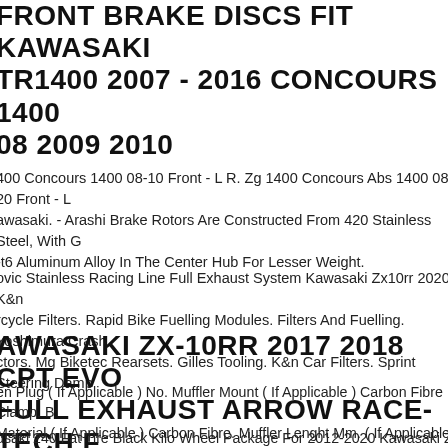FRONT BRAKE DISCS FIT KAWASAKI GTR1400 2007 - 2016 CONCOURS 1400 08 2009 2010
400 Concours 1400 08-10 Front - L R. Zg 1400 Concours Abs 1400 08-20 Front - L Kawasaki. - Arashi Brake Rotors Are Constructed From 420 Stainless Steel, With G -t6 Aluminum Alloy In The Center Hub For Lesser Weight.
ovic Stainless Racing Line Full Exhaust System Kawasaki Zx10rr 2020. K&n rcycle Filters. Rapid Bike Fuelling Modules. Filters And Fuelling. Yoshimura Crash ctors. Mg Biketec Rearsets. Gilles Tooling. K&n Car Filters. Sprint Steering Damp
KAWASAKI ZX-10RR 2017 2018 CPT EVO FULL EXHAUST ARROW RACE-TECH PT EVO-...
en Plug ( If Applicable ) No. Muffler Mount ( If Applicable ) Carbon Fibre Clamp. B Material ( If Applicable ) Carbon Fibre. Muffler Lenght Mm. ( If Applicable ) 220. er Material ( If Applicable ) Stainless Steel.
usaki 240 Fat Tire Black Kilo Wheel Package For 2012-2020 Kawasaki Z x14. Ite